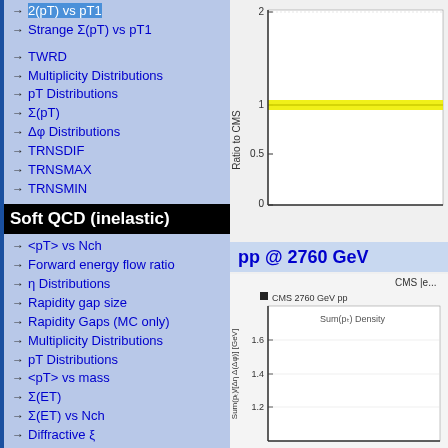→ 2(pT) vs pT1
→ Strange Σ(pT) vs pT1
→ TWRD
→ Multiplicity Distributions
→ pT Distributions
→ Σ(pT)
→ Δφ Distributions
→ TRNSDIF
→ TRNSMAX
→ TRNSMIN
Soft QCD (inelastic)
→ <pT> vs Nch
→ Forward energy flow ratio
→ η Distributions
→ Rapidity gap size
→ Rapidity Gaps (MC only)
→ Multiplicity Distributions
→ pT Distributions
→ <pT> vs mass
→ Σ(ET)
→ Σ(ET) vs Nch
→ Diffractive ξ
[Figure (continuous-plot): Ratio to CMS chart showing a yellow band near ratio=1, with y-axis from 0 to 2, labeled 'Ratio to CMS']
pp @ 2760 GeV
[Figure (continuous-plot): CMS 2760 GeV pp chart showing Sum(pT) Density vs delta-eta-delta-phi, with y-axis showing values 1.2, 1.4, 1.6, y-axis label Sum(p_T)/[Delta-eta Delta-phi] [GeV]]